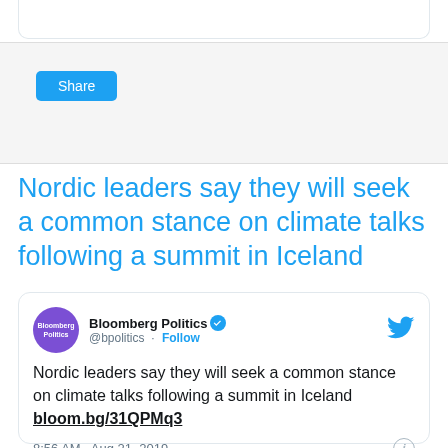[Figure (screenshot): Top portion of a web page card with white background and rounded top border]
[Figure (screenshot): Share section with light grey background containing a blue Share button]
Nordic leaders say they will seek a common stance on climate talks following a summit in Iceland
[Figure (screenshot): Embedded tweet from Bloomberg Politics (@bpolitics) with verified badge and Follow link. Tweet text: Nordic leaders say they will seek a common stance on climate talks following a summit in Iceland bloom.bg/31QPMq3. Timestamp: 8:56 AM · Aug 21, 2019]
Nordic leaders say they will seek a common stance on climate talks following a summit in Iceland bloom.bg/31QPMq3
8:56 AM · Aug 21, 2019